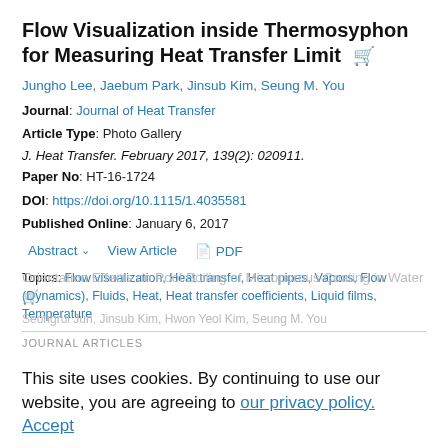Flow Visualization inside Thermosyphon for Measuring Heat Transfer Limit
Jungho Lee, Jaebum Park, Jinsub Kim, Seung M. You
Journal: Journal of Heat Transfer
Article Type: Photo Gallery
J. Heat Transfer. February 2017, 139(2): 020911.
Paper No: HT-16-1724
DOI: https://doi.org/10.1115/1.4035581
Published Online: January 6, 2017
Abstract  View Article  PDF
Topics: Flow visualization, Heat transfer, Heat pipes, Vapors, Flow (Dynamics), Fluids, Heat, Heat transfer coefficients, Liquid films, Temperature
JOURNAL ARTICLES
This site uses cookies. By continuing to use our website, you are agreeing to our privacy policy. Accept